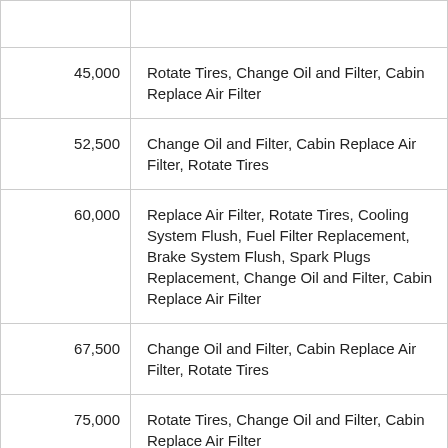| Mileage | Services |
| --- | --- |
| 45,000 | Rotate Tires, Change Oil and Filter, Cabin Replace Air Filter |
| 52,500 | Change Oil and Filter, Cabin Replace Air Filter, Rotate Tires |
| 60,000 | Replace Air Filter, Rotate Tires, Cooling System Flush, Fuel Filter Replacement, Brake System Flush, Spark Plugs Replacement, Change Oil and Filter, Cabin Replace Air Filter |
| 67,500 | Change Oil and Filter, Cabin Replace Air Filter, Rotate Tires |
| 75,000 | Rotate Tires, Change Oil and Filter, Cabin Replace Air Filter |
| 82,500 | Change Oil and Filter, Cabin Replace Air Filter, Rotate Tires |
| 90,000 | Replace Air Filter, Rotate Tires, Cooling System Flush, Fuel Filter Replacement, Brake System Flush, Spark Plugs Replacement, Change Oil and Filter, Cabin Replace Air Filter |